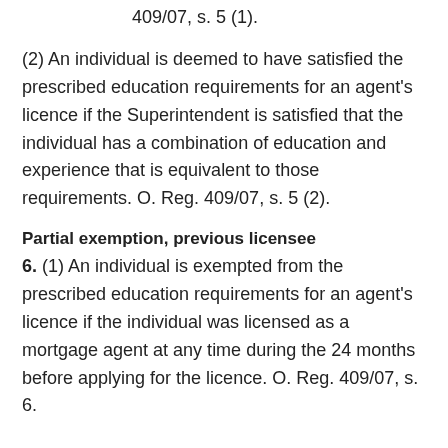409/07, s. 5 (1).
(2) An individual is deemed to have satisfied the prescribed education requirements for an agent's licence if the Superintendent is satisfied that the individual has a combination of education and experience that is equivalent to those requirements. O. Reg. 409/07, s. 5 (2).
Partial exemption, previous licensee
6. (1) An individual is exempted from the prescribed education requirements for an agent's licence if the individual was licensed as a mortgage agent at any time during the 24 months before applying for the licence. O. Reg. 409/07, s. 6.